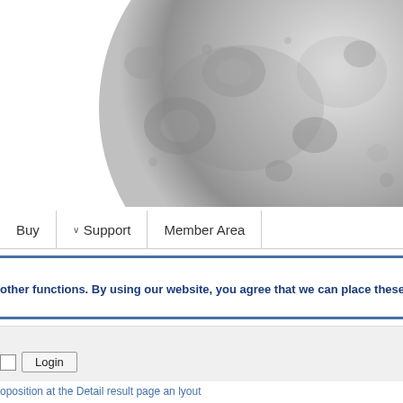[Figure (photo): Partial view of the Moon surface in grayscale, cropped, showing craters and surface texture]
Buy | ∨ Support | Member Area
other functions. By using our website, you agree that we can place these
□ Login
oposition at the Detail result page an lyout